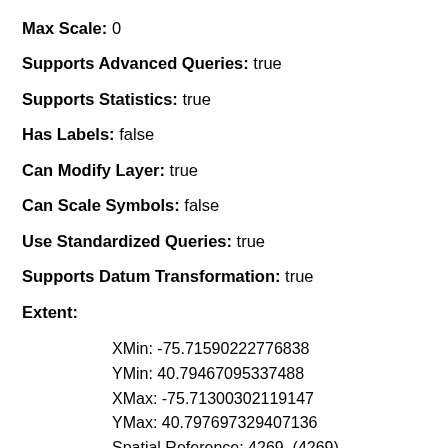Max Scale: 0
Supports Advanced Queries: true
Supports Statistics: true
Has Labels: false
Can Modify Layer: true
Can Scale Symbols: false
Use Standardized Queries: true
Supports Datum Transformation: true
Extent:
XMin: -75.71590222776838
YMin: 40.79467095337488
XMax: -75.71300302119147
YMax: 40.797697329407136
Spatial Reference: 4269  (4269)
Drawing Info: